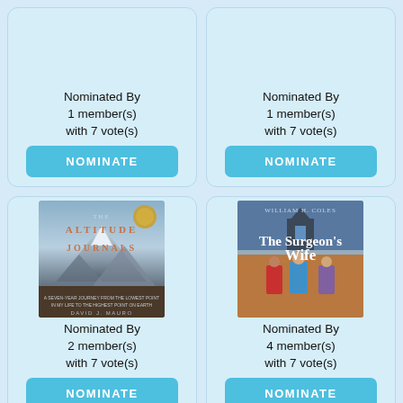Nominated By 1 member(s) with 7 vote(s)
NOMINATE
Nominated By 1 member(s) with 7 vote(s)
NOMINATE
[Figure (photo): Book cover: The Altitude Journals by David J. Mauro. Mountain landscape with snowy peaks and dramatic sky. Award seal on upper right.]
Nominated By 2 member(s) with 7 vote(s)
NOMINATE
[Figure (photo): Book cover: The Surgeon's Wife by William H. Coles. Festival crowd scene with illustrated characters in colorful clothing.]
Nominated By 4 member(s) with 7 vote(s)
NOMINATE